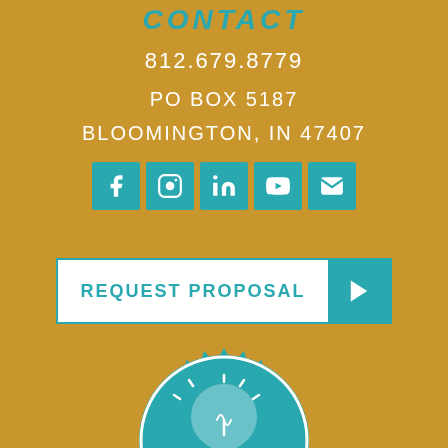CONTACT
812.679.8779
PO BOX 5187
BLOOMINGTON, IN 47407
[Figure (infographic): Five social media icon buttons (Facebook, Instagram, LinkedIn, YouTube, Email) in teal square tiles]
[Figure (infographic): REQUEST PROPOSAL button with white background and teal play arrow button on the right]
[Figure (logo): Shine Insurance logo — teal circular badge with a lightbulb icon and the text SHINE INSURANCE]